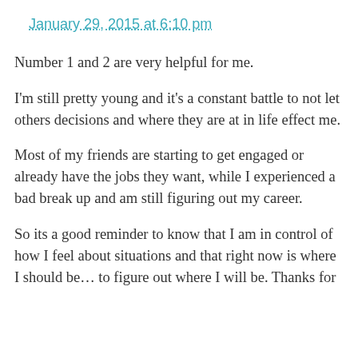January 29, 2015 at 6:10 pm
Number 1 and 2 are very helpful for me.
I'm still pretty young and it's a constant battle to not let others decisions and where they are at in life effect me.
Most of my friends are starting to get engaged or already have the jobs they want, while I experienced a bad break up and am still figuring out my career.
So its a good reminder to know that I am in control of how I feel about situations and that right now is where I should be… to figure out where I will be. Thanks for